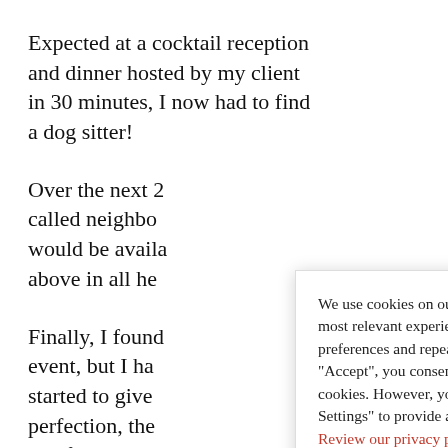Expected at a cocktail reception and dinner hosted by my client in 30 minutes, I now had to find a dog sitter!
Over the next 2[...] called neighbo[...] would be availa[...] above in all he[...]
Finally, I found [...] event, but I ha[...] started to give [...] perfection, the [...] "perfection is not the goal.
We use cookies on our website to give you the most relevant experience by remembering your preferences and repeat visits. By clicking “Accept”, you consent to the use of ALL the cookies. However, you may visit “Cookie Settings” to provide a controlled consent. Review our privacy policy here.